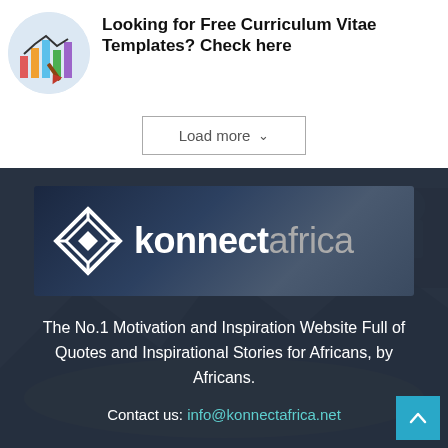Looking for Free Curriculum Vitae Templates? Check here
Load more
[Figure (logo): Konnect Africa logo banner with diamond geometric icon and text 'konnectafrica' on dark background with people in background]
The No.1 Motivation and Inspiration Website Full of Quotes and Inspirational Stories for Africans, by Africans.
Contact us: info@konnectafrica.net